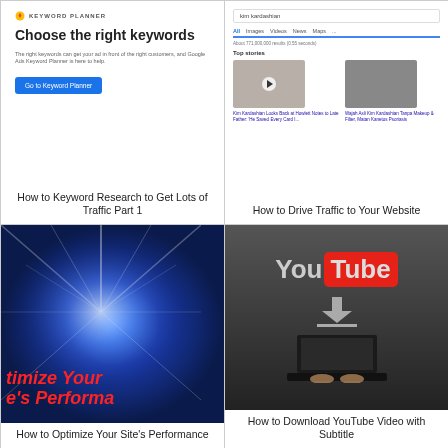[Figure (screenshot): Google Keyword Planner interface showing 'Choose the right keywords' headline with a blue 'Go to Keyword Planner' button]
How to Keyword Research to Get Lots of Traffic Part 1
[Figure (screenshot): Google search results page for 'kim kardashian' showing Top stories with news thumbnails]
How to Drive Traffic to Your Website
[Figure (photo): Blue light burst background with red bold italic text reading 'timize Your e's Performa' (Optimize Your Site's Performance)]
How to Optimize Your Site's Performance
[Figure (photo): YouTube logo on dark background with person typing on laptop below, with download arrow icon]
How to Download YouTube Video with Subtitle